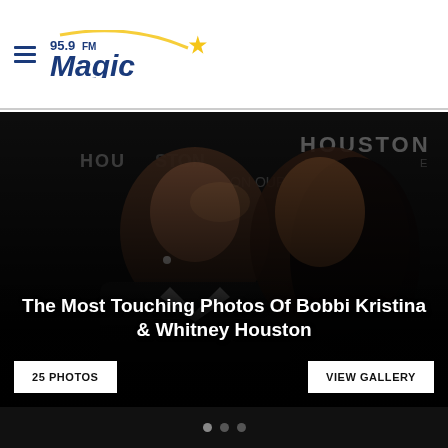95.9FM Magic
[Figure (photo): A man and woman in close proximity, appearing to almost kiss, at a Houston event backdrop. Dark background with 'Houston on Our' text visible. The image shows Bobbi Kristina and a companion at a red carpet/event.]
The Most Touching Photos Of Bobbi Kristina & Whitney Houston
25 PHOTOS
VIEW GALLERY